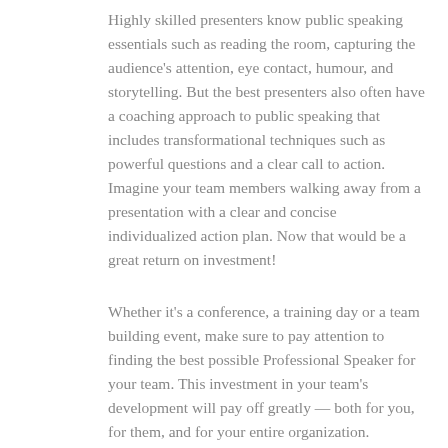Highly skilled presenters know public speaking essentials such as reading the room, capturing the audience's attention, eye contact, humour, and storytelling. But the best presenters also often have a coaching approach to public speaking that includes transformational techniques such as powerful questions and a clear call to action. Imagine your team members walking away from a presentation with a clear and concise individualized action plan. Now that would be a great return on investment!
Whether it's a conference, a training day or a team building event, make sure to pay attention to finding the best possible Professional Speaker for your team. This investment in your team's development will pay off greatly — both for you, for them, and for your entire organization.